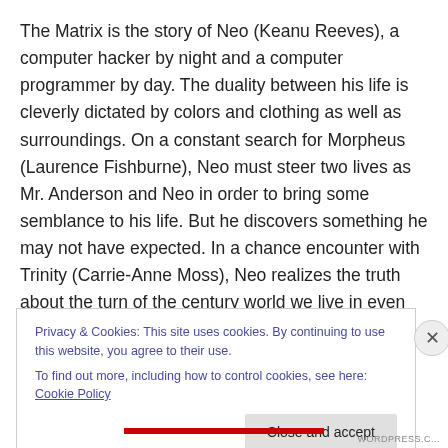The Matrix is the story of Neo (Keanu Reeves), a computer hacker by night and a computer programmer by day. The duality between his life is cleverly dictated by colors and clothing as well as surroundings. On a constant search for Morpheus (Laurence Fishburne), Neo must steer two lives as Mr. Anderson and Neo in order to bring some semblance to his life. But he discovers something he may not have expected. In a chance encounter with Trinity (Carrie-Anne Moss), Neo realizes the truth about the turn of the century world we live in even as we speak.
Privacy & Cookies: This site uses cookies. By continuing to use this website, you agree to their use.
To find out more, including how to control cookies, see here: Cookie Policy